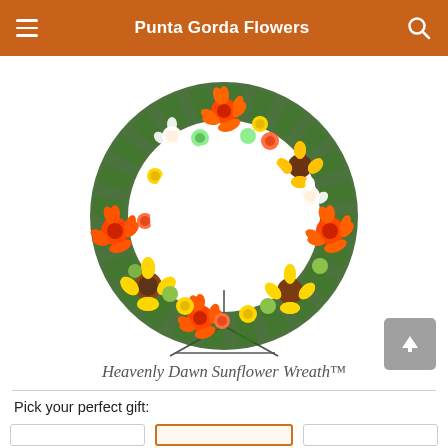Punta Gorda Flowers
[Figure (photo): A colorful floral wreath arrangement featuring sunflowers, orange gerbera daisies, yellow flowers, and greenery displayed on a metal easel stand.]
Heavenly Dawn Sunflower Wreath™
Pick your perfect gift: